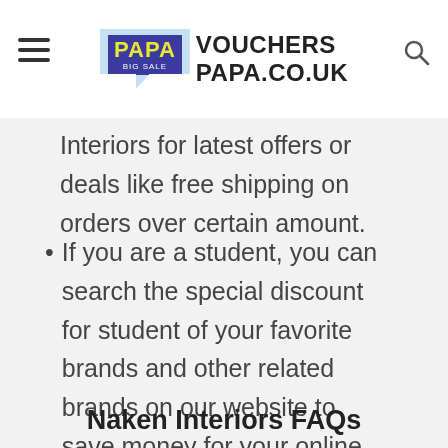VOUCHERS PAPA.CO.UK
Interiors for latest offers or deals like free shipping on orders over certain amount.
If you are a student, you can search the special discount for student of your favorite brands and other related brands on our website to save money for your online shopping.
Naken Interiors FAQs